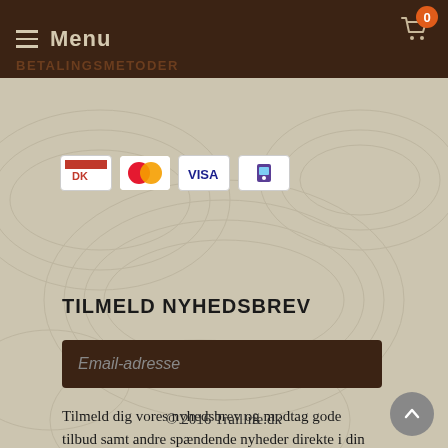Menu
BETALINGSMETODER
[Figure (other): Payment method icons: Dankort (DK), MasterCard, VISA, MobilePay]
TILMELD NYHEDSBREV
Email-adresse
Tilmeld dig vores nyhedsbrev og modtag gode tilbud samt andre spændende nyheder direkte i din indbakke.
Tilmeld   Afmeld
© 2016 Traillife.dk